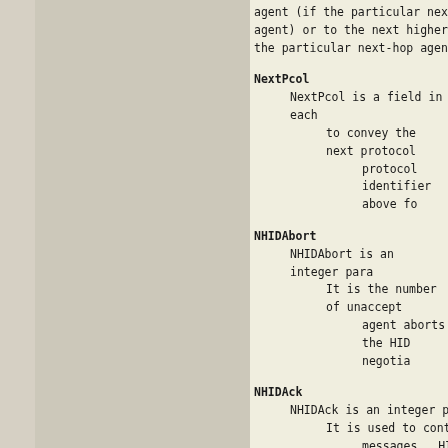agent (if the particular next-hop agent) or to the next higher the particular next-hop agent.
NextPcol
    NextPcol is a field in each to convey the next protocol protocol identifier above fo
NHIDAbort
    NHIDAbort is an integer para It is the number of unaccept agent aborts the HID negotia
NHIDAck
    NHIDAck is an integer parame It is used to control retran messages. HID-CHANGE-REQUEST previous-hop ST agent to req those agents be changed. Th HID-CHANGE-REQUEST message b the HID-CHANGE is not receiv interval, the request will b giving up.
NHIDol